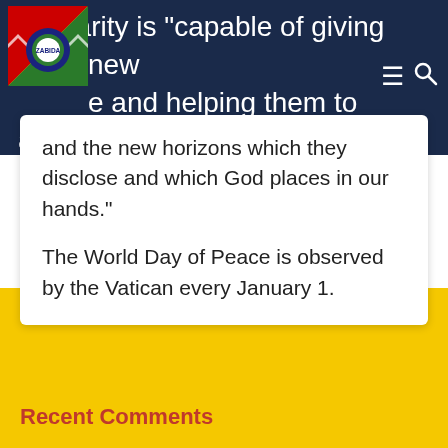solidarity is "capable of giving them new courage and helping them to advance with courage amid the problems of our time and the new horizons which they disclose and which God places in our hands."
The World Day of Peace is observed by the Vatican every January 1.
Recent Comments